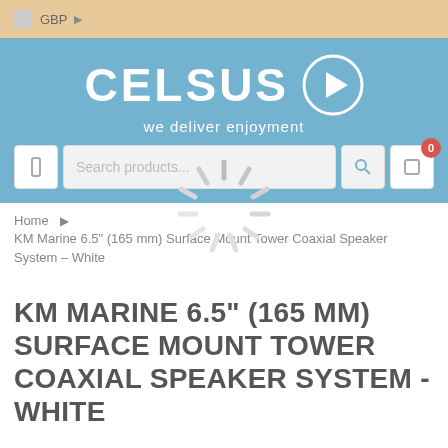GBP
[Figure (logo): Celsus logo with play button icon and tagline 'we deliver enjoyment' on blue background]
[Figure (screenshot): Search bar with menu icon, search input placeholder 'Search products...', search icon button, and cart button with badge showing 0]
Home > KM Marine 6.5" (165 mm) Surface Mount Tower Coaxial Speaker System – White
[Figure (other): Loading spinner graphic]
KM MARINE 6.5" (165 MM) SURFACE MOUNT TOWER COAXIAL SPEAKER SYSTEM - WHITE